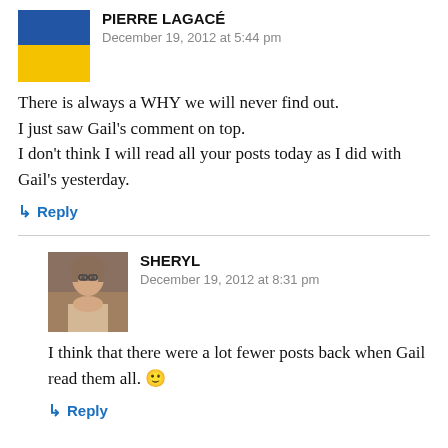[Figure (photo): Avatar photo of Pierre Lagacé showing a flag with blue and yellow colors]
PIERRE LAGACÉ
December 19, 2012 at 5:44 pm
There is always a WHY we will never find out.
I just saw Gail's comment on top.
I don't think I will read all your posts today as I did with Gail's yesterday.
↳ Reply
[Figure (photo): Avatar photo of Sheryl showing a woman with glasses]
SHERYL
December 19, 2012 at 8:31 pm
I think that there were a lot fewer posts back when Gail read them all. 🙂
↳ Reply